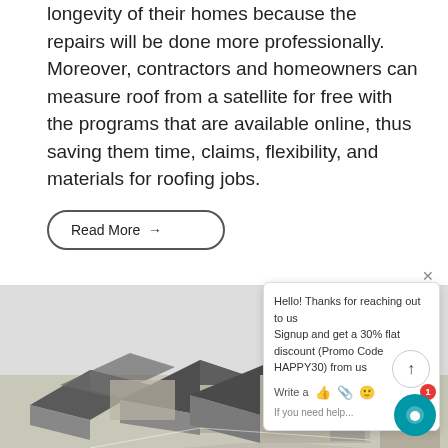longevity of their homes because the repairs will be done more professionally. Moreover, contractors and homeowners can measure roof from a satellite for free with the programs that are available online, thus saving them time, claims, flexibility, and materials for roofing jobs.
Read More →
[Figure (photo): Aerial/3D view of multiple residential houses with grey roofs and beige siding, shown from an elevated angle]
Hello! Thanks for reaching out to us Signup and get a 30% flat discount (Promo Code HAPPY30) from us
Write a
If you need help...